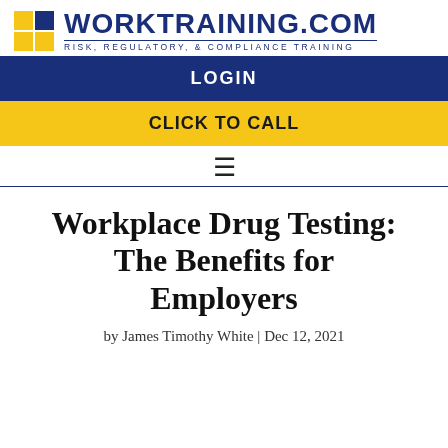[Figure (logo): WorkTraining.com logo with yellow and blue grid squares and text 'WORKTRAINING.COM' with subtitle 'RISK, REGULATORY, & COMPLIANCE TRAINING']
LOGIN
CLICK TO CALL
Workplace Drug Testing: The Benefits for Employers
by James Timothy White | Dec 12, 2021